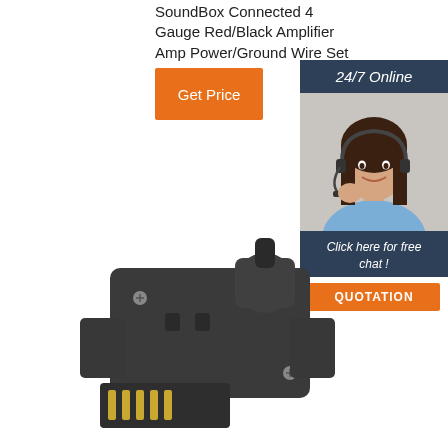SoundBox Connected 4 Gauge Red/Black Amplifier Amp Power/Ground Wire Set ...
[Figure (other): Orange Get Price button]
[Figure (other): Sidebar with 24/7 Online header, customer service representative photo, Click here for free chat! text, and QUOTATION button]
[Figure (photo): Black plastic 5-pin trailer connector plug with gold pins]